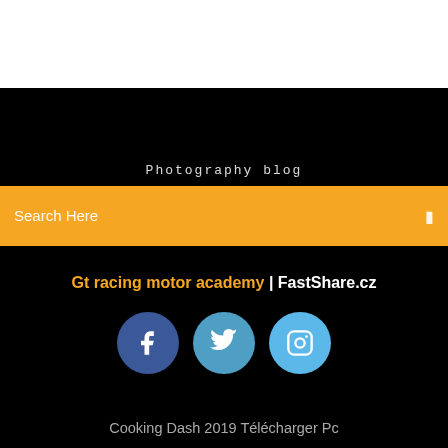Photography blog
Search Here
Gt racing motor academy | FastShare.cz
[Figure (illustration): Three social media icon circles: Facebook (dark blue), Twitter (medium blue), Instagram (light blue), each with white icons]
Cooking Dash 2019 Télécharger Pc
Convertisseur Youtube Vers Mp3 En Ligne
Convertir Clé Usb Exfat En Fat32 Sans Formater